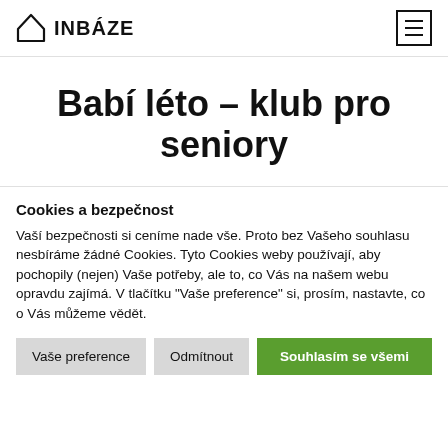INBÁZE
Babí léto – klub pro seniory
Cookies a bezpečnost
Vaší bezpečnosti si ceníme nade vše. Proto bez Vašeho souhlasu nesbíráme žádné Cookies. Tyto Cookies weby používají, aby pochopily (nejen) Vaše potřeby, ale to, co Vás na našem webu opravdu zajímá. V tlačítku "Vaše preference" si, prosím, nastavte, co o Vás můžeme vědět.
Vaše preference
Odmítnout
Souhlasím se všemi